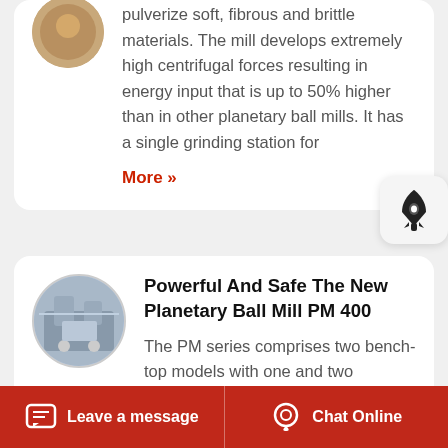pulverize soft, fibrous and brittle materials. The mill develops extremely high centrifugal forces resulting in energy input that is up to 50% higher than in other planetary ball mills. It has a single grinding station for
More »
Powerful And Safe The New Planetary Ball Mill PM 400
The PM series comprises two bench-top models with one and two grinding stations and the fl...
Leave a message   Chat Online